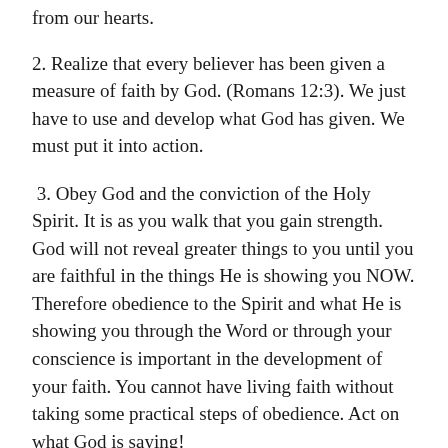from our hearts.
2. Realize that every believer has been given a measure of faith by God. (Romans 12:3). We just have to use and develop what God has given. We must put it into action.
3. Obey God and the conviction of the Holy Spirit. It is as you walk that you gain strength. God will not reveal greater things to you until you are faithful in the things He is showing you NOW. Therefore obedience to the Spirit and what He is showing you through the Word or through your conscience is important in the development of your faith. You cannot have living faith without taking some practical steps of obedience. Act on what God is saying!
4. Give thanks. Give thanks for the results before